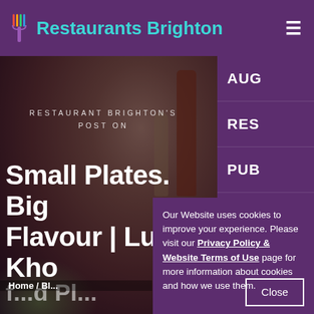Restaurants Brighton
[Figure (screenshot): Restaurant photo showing wine bottle being poured into a glass, with food and flowers, dimly lit and darkened]
RESTAURANT BRIGHTON'S POST ON
Small Plates. Big Flavour | Lucky Kho...
AUG
RES
PUB
BAR
CAF
Our Website uses cookies to improve your experience. Please visit our Privacy Policy & Website Terms of Use page for more information about cookies and how we use them.
Home / Bl...
Close